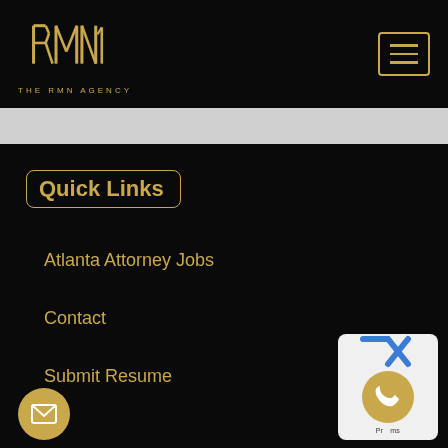THE RMN AGENCY
Quick Links
Atlanta Attorney Jobs
Contact
Submit Resume